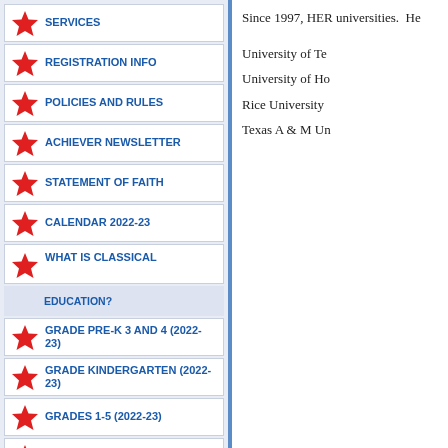SERVICES
REGISTRATION INFO
POLICIES AND RULES
ACHIEVER NEWSLETTER
STATEMENT OF FAITH
CALENDAR 2022-23
WHAT IS CLASSICAL EDUCATION?
GRADE PRE-K 3 AND 4 (2022-23)
GRADE KINDERGARTEN (2022-23)
GRADES 1-5 (2022-23)
GRADES 6-8 DISCOUNT
PACKAGES 2022-23
GRADES 6-12 CLASSES 22-23
SUMMER CAMPS AND WORKSHOPS 2022
Since 1997, HER universities. He
University of Te
University of Ho
Rice University
Texas A & M Un